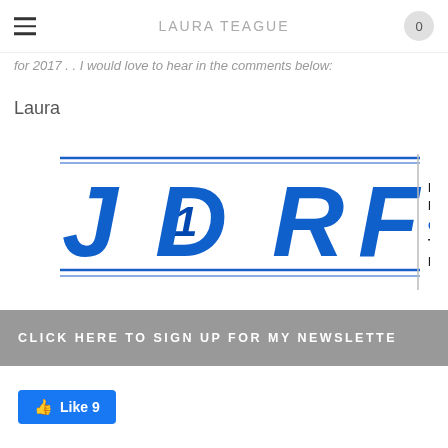LAURA TEAGUE
for 2017 . . I would love to hear in the comments below:
Laura
[Figure (logo): JDRF logo with text: IMPROVING LIVES. CURING TYPE 1 DIABETES.]
CLICK HERE TO SIGN UP FOR MY NEWSLETTER
[Figure (other): Facebook Like button showing Like 9]